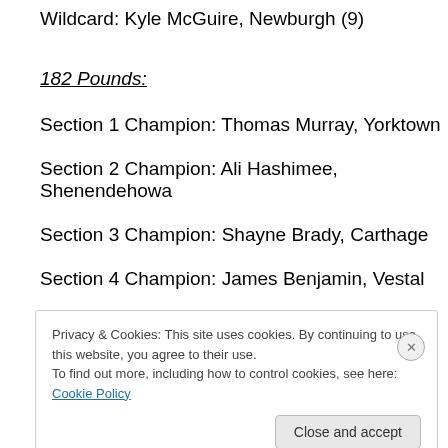Wildcard: Kyle McGuire, Newburgh (9)
182 Pounds:
Section 1 Champion: Thomas Murray, Yorktown
Section 2 Champion: Ali Hashimee, Shenendehowa
Section 3 Champion: Shayne Brady, Carthage
Section 4 Champion: James Benjamin, Vestal
Privacy & Cookies: This site uses cookies. By continuing to use this website, you agree to their use. To find out more, including how to control cookies, see here: Cookie Policy